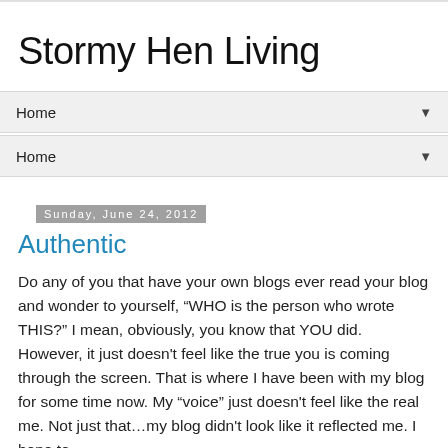Stormy Hen Living
Home ▼
Home ▼
Sunday, June 24, 2012
Authentic
Do any of you that have your own blogs ever read your blog and wonder to yourself, “WHO is the person who wrote THIS?” I mean, obviously, you know that YOU did. However, it just doesn't feel like the true you is coming through the screen. That is where I have been with my blog for some time now. My “voice” just doesn't feel like the real me. Not just that…my blog didn't look like it reflected me. I hope to